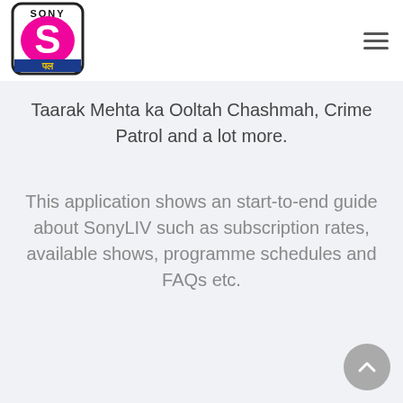[Figure (logo): Sony Pal (Sony LIV) logo — white background with 'SONY' text at top, large pink S letter shape, blue/yellow 'पल' Hindi text at bottom, black border]
Taarak Mehta ka Ooltah Chashmah, Crime Patrol and a lot more.
This application shows an start-to-end guide about SonyLIV such as subscription rates, available shows, programme schedules and FAQs etc.